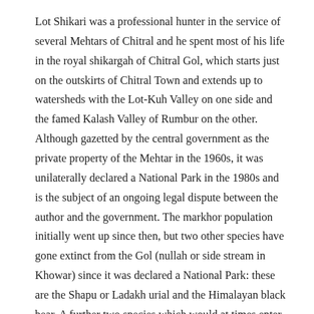Lot Shikari was a professional hunter in the service of several Mehtars of Chitral and he spent most of his life in the royal shikargah of Chitral Gol, which starts just on the outskirts of Chitral Town and extends up to watersheds with the Lot-Kuh Valley on one side and the famed Kalash Valley of Rumbur on the other. Although gazetted by the central government as the private property of the Mehtar in the 1960s, it was unilaterally declared a National Park in the 1980s and is the subject of an ongoing legal dispute between the author and the government. The markhor population initially went up since then, but two other species have gone extinct from the Gol (nullah or side stream in Khowar) since it was declared a National Park: these are the Shapu or Ladakh urial and the Himalayan black bear. A further two species which would at times enter the Gol from other valleys, the snow leopard and ibex, have also not been seen for over a decade.